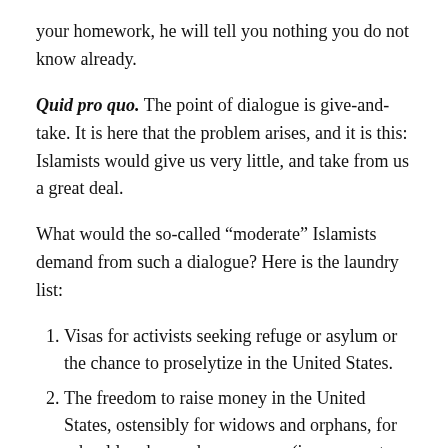your homework, he will tell you nothing you do not know already.
Quid pro quo. The point of dialogue is give-and-take. It is here that the problem arises, and it is this: Islamists would give us very little, and take from us a great deal.
What would the so-called “moderate” Islamists demand from such a dialogue? Here is the laundry list:
Visas for activists seeking refuge or asylum or the chance to proselytize in the United States.
The freedom to raise money in the United States, ostensibly for widows and orphans, for school lunches and prayer rugs (i.e., access to cash-stuffed envelopes).